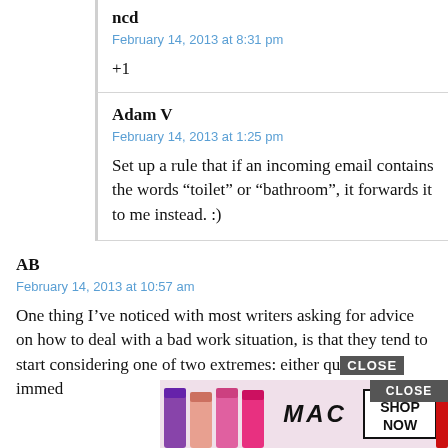ncd
February 14, 2013 at 8:31 pm
+1
Adam V
February 14, 2013 at 1:25 pm
Set up a rule that if an incoming email contains the words “toilet” or “bathroom”, it forwards it to me instead. :)
AB
February 14, 2013 at 10:57 am
One thing I’ve noticed with most writers asking for advice on how to deal with a bad work situation, is that they tend to start considering one of two extremes: either qu CLOSE immed
[Figure (screenshot): MAC cosmetics advertisement banner with lipsticks, MAC logo, SHOP NOW button, and CLOSE button overlay]